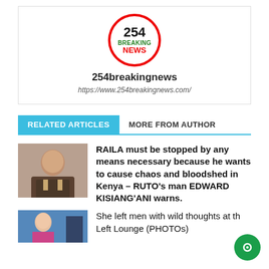[Figure (logo): 254 Breaking News circular logo with red border, white background, black '254', green 'BREAKING', red 'NEWS' text]
254breakingnews
https://www.254breakingnews.com/
RELATED ARTICLES
MORE FROM AUTHOR
[Figure (photo): Photo of a man in a suit]
RAILA must be stopped by any means necessary because he wants to cause chaos and bloodshed in Kenya – RUTO's man EDWARD KISIANG'ANI warns.
[Figure (photo): Photo of a woman]
She left men with wild thoughts at the Left Lounge (PHOTOs)